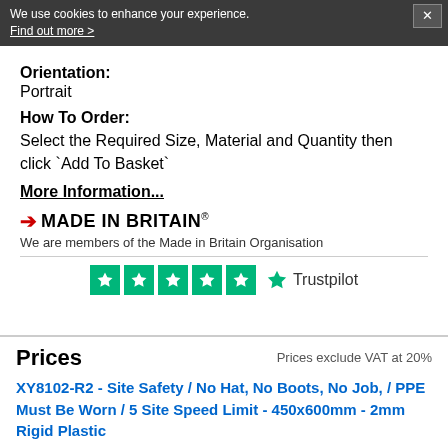We use cookies to enhance your experience. Find out more >
Orientation:
Portrait
How To Order:
Select the Required Size, Material and Quantity then click `Add To Basket`
More Information...
[Figure (logo): Made In Britain logo with red arrow and bold text, with registered trademark symbol]
We are members of the Made in Britain Organisation
[Figure (logo): Trustpilot logo showing 5 green star rating boxes and Trustpilot text with star]
Prices
Prices exclude VAT at 20%
XY8102-R2 - Site Safety / No Hat, No Boots, No Job, / PPE Must Be Worn / 5 Site Speed Limit - 450x600mm - 2mm Rigid Plastic